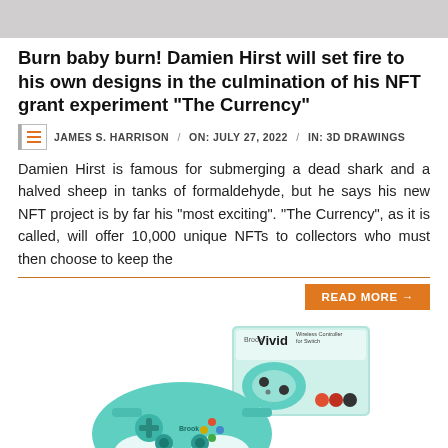[Figure (photo): Top banner image, light gray/white background, partial view of artwork or figure]
Burn baby burn! Damien Hirst will set fire to his own designs in the culmination of his NFT grant experiment “The Currency”
JAMES S. HARRISON / ON: JULY 27, 2022 / IN: 3D DRAWINGS
Damien Hirst is famous for submerging a dead shark and a halved sheep in tanks of formaldehyde, but he says his new NFT project is by far his “most exciting”. “The Currency”, as it is called, will offer 10,000 unique NFTs to collectors who must then choose to keep the
READ MORE →
[Figure (photo): Brook Vivid wireless game controller product photo with box packaging, teal/mint color scheme]